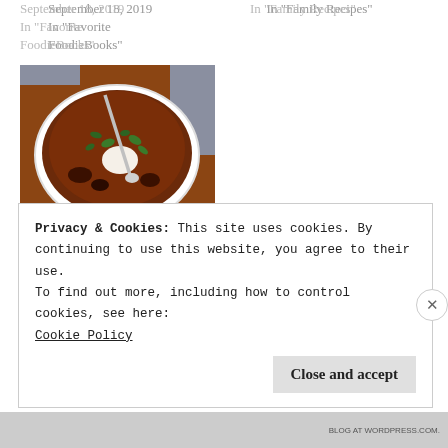September 18, 2019
In "Favorite FoodieBooks"
In "Family Recipes"
[Figure (photo): Bowl of black bean tomato soup with a spoon, topped with sour cream and fresh cilantro, on a gray cloth background]
Black Bean Tomato Soup
January 8, 2020
In "Fridge & Freezer Finds Last Minute Meals"
Privacy & Cookies: This site uses cookies. By continuing to use this website, you agree to their use.
To find out more, including how to control cookies, see here:
Cookie Policy
Close and accept